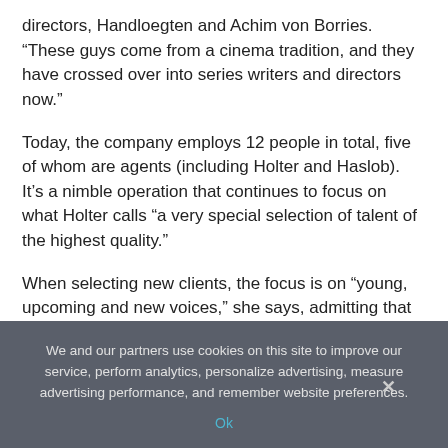directors, Handloegten and Achim von Borries. “These guys come from a cinema tradition, and they have crossed over into series writers and directors now.”
Today, the company employs 12 people in total, five of whom are agents (including Holter and Haslob). It’s a nimble operation that continues to focus on what Holter calls “a very special selection of talent of the highest quality.”
When selecting new clients, the focus is on “young, upcoming and new voices,” she says, admitting that she rarely adds new clients to her portfolio these days.
We and our partners use cookies on this site to improve our service, perform analytics, personalize advertising, measure advertising performance, and remember website preferences.
Ok